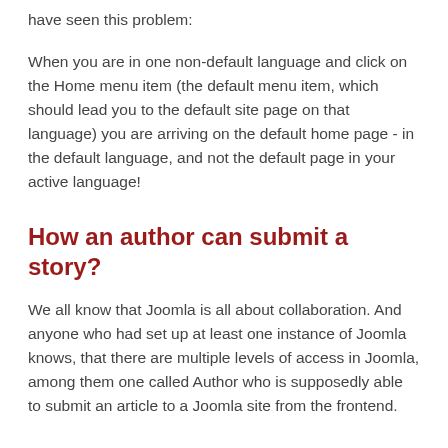have seen this problem:
When you are in one non-default language and click on the Home menu item (the default menu item, which should lead you to the default site page on that language) you are arriving on the default home page - in the default language, and not the default page in your active language!
How an author can submit a story?
We all know that Joomla is all about collaboration. And anyone who had set up at least one instance of Joomla knows, that there are multiple levels of access in Joomla, among them one called Author who is supposedly able to submit an article to a Joomla site from the frontend.
How to Add Meta Tag Robots in